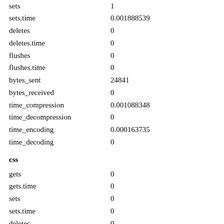| key | value |
| --- | --- |
| sets | 1 |
| sets.time | 0.001888539 |
| deletes | 0 |
| deletes.time | 0 |
| flushes | 0 |
| flushes.time | 0 |
| bytes_sent | 24841 |
| bytes_received | 0 |
| time_compression | 0.001088348 |
| time_decompression | 0 |
| time_encoding | 0.000163735 |
| time_decoding | 0 |
css
| key | value |
| --- | --- |
| gets | 0 |
| gets.time | 0 |
| sets | 0 |
| sets.time | 0 |
| deletes | 0 |
| deletes.time | 0 |